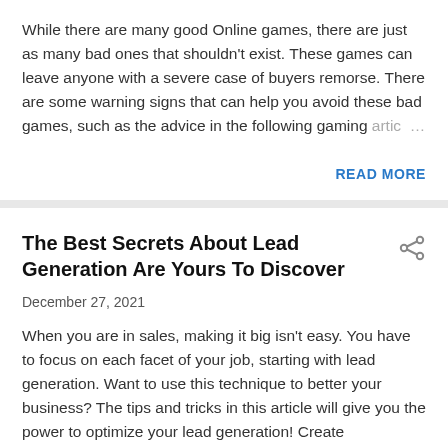While there are many good Online games, there are just as many bad ones that shouldn't exist. These games can leave anyone with a severe case of buyers remorse. There are some warning signs that can help you avoid these bad games, such as the advice in the following gaming artic…
READ MORE
The Best Secrets About Lead Generation Are Yours To Discover
December 27, 2021
When you are in sales, making it big isn't easy. You have to focus on each facet of your job, starting with lead generation. Want to use this technique to better your business? The tips and tricks in this article will give you the power to optimize your lead generation! Create engaging…